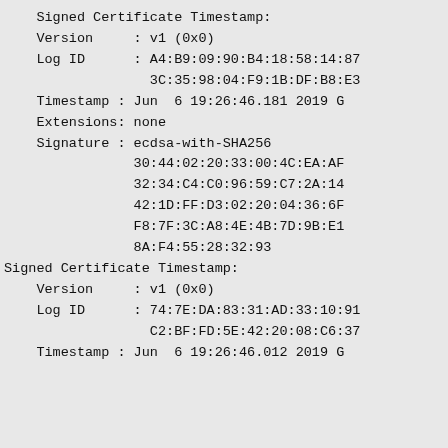Signed Certificate Timestamp:
    Version     : v1 (0x0)
    Log ID      : A4:B9:09:90:B4:18:58:14:87
                  3C:35:98:04:F9:1B:DF:B8:E3
    Timestamp : Jun  6 19:26:46.181 2019 G
    Extensions: none
    Signature : ecdsa-with-SHA256
                30:44:02:20:33:00:4C:EA:AF
                32:34:C4:C0:96:59:C7:2A:14
                42:1D:FF:D3:02:20:04:36:6F
                F8:7F:3C:A8:4E:4B:7D:9B:E1
                8A:F4:55:28:32:93
Signed Certificate Timestamp:
    Version     : v1 (0x0)
    Log ID      : 74:7E:DA:83:31:AD:33:10:91
                  C2:BF:FD:5E:42:20:08:C6:37
    Timestamp : Jun  6 19:26:46.012 2019 G